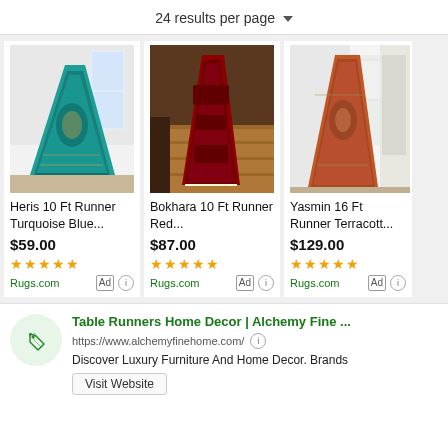24 results per page ▾
[Figure (photo): Teal/turquoise oriental runner rug in a hallway setting]
Heris 10 Ft Runner Turquoise Blue...
$59.00
★★★★★
Rugs.com
[Figure (photo): Red Bokhara runner rug on a wooden floor]
Bokhara 10 Ft Runner Red...
$87.00
★★★★★
Rugs.com
[Figure (photo): Terracotta/orange oriental runner rug in a room with white door]
Yasmin 16 Ft Runner Terracott...
$129.00
★★★★★
Rugs.com
Table Runners Home Decor | Alchemy Fine ...
https://www.alchemyfinehome.com/
Discover Luxury Furniture And Home Decor. Brands
Visit Website